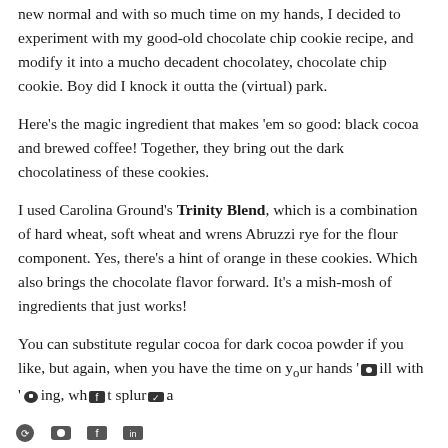new normal and with so much time on my hands, I decided to experiment with my good-old chocolate chip cookie recipe, and modify it into a mucho decadent chocolatey, chocolate chip cookie. Boy did I knock it outta the (virtual) park.
Here's the magic ingredient that makes 'em so good: black cocoa and brewed coffee! Together, they bring out the dark chocolatiness of these cookies.
I used Carolina Ground's Trinity Blend, which is a combination of hard wheat, soft wheat and wrens Abruzzi rye for the flour component. Yes, there's a hint of orange in these cookies. Which also brings the chocolate flavor forward. It's a mish-mosh of ingredients that just works!
You can substitute regular cocoa for dark cocoa powder if you like, but again, when you have the time on your hands 'splurge with trying, why not splurge a
social sharing icons